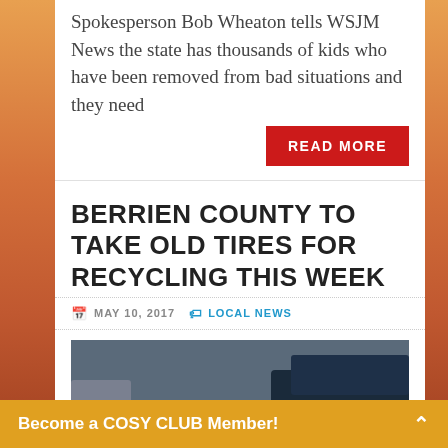Spokesperson Bob Wheaton tells WSJM News the state has thousands of kids who have been removed from bad situations and they need
READ MORE
BERRIEN COUNTY TO TAKE OLD TIRES FOR RECYCLING THIS WEEK
MAY 10, 2017  LOCAL NEWS
[Figure (photo): Close-up photograph of an old car tire on a vehicle, showing tread detail and wheel well]
Become a COSY CLUB Member!